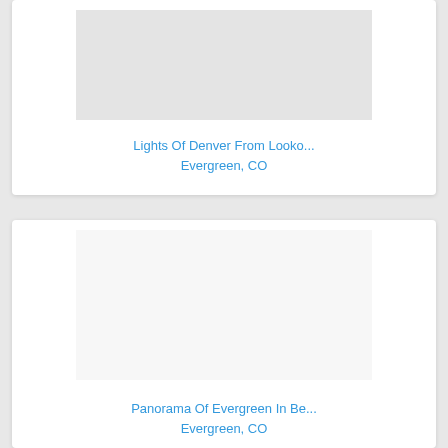[Figure (photo): Placeholder image for 'Lights Of Denver From Looko...' photo, light gray rectangle]
Lights Of Denver From Looko...
Evergreen, CO
[Figure (photo): Placeholder image for 'Panorama Of Evergreen In Be...' photo, white/light rectangle]
Panorama Of Evergreen In Be...
Evergreen, CO